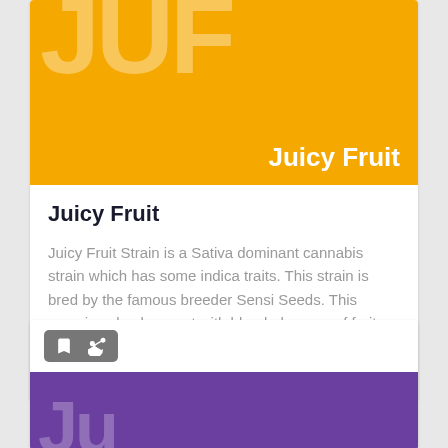[Figure (illustration): Yellow/golden background card image with large white translucent letters 'JUF' and 'Juicy Fruit' label in white text at bottom right]
Juicy Fruit
Juicy Fruit Strain is a Sativa dominant cannabis strain which has some indica traits. This strain is bred by the famous breeder Sensi Seeds. This amazing skunky scent with blended aroma of fruit punch and lemons and the juicy fruit taste with a... Read full article
[Figure (illustration): Second card with bookmark and share icons on grey button, and purple background image below partially visible]